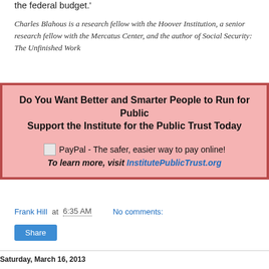the federal budget.'
Charles Blahous is a research fellow with the Hoover Institution, a senior research fellow with the Mercatus Center, and the author of Social Security: The Unfinished Work
Do You Want Better and Smarter People to Run for Public Support the Institute for the Public Trust Today

PayPal - The safer, easier way to pay online!
To learn more, visit InstitutePublicTrust.org
Frank Hill at 6:35 AM   No comments:
Share
Saturday, March 16, 2013
'Mr. Politician: Stop Using Government as an ATM Machine!'